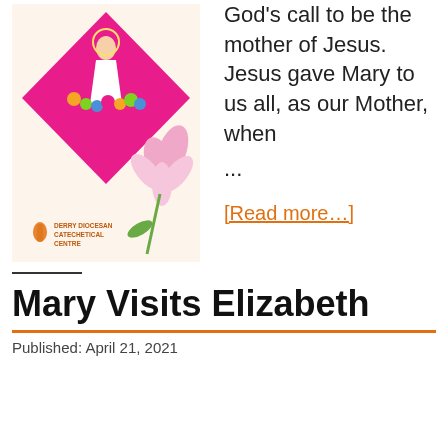[Figure (illustration): Illustration from Derry Diocesan Catechetical Centre showing a figure of Mary (in white) surrounded by children, on a pink diamond background with flowers, and the Derry Diocesan Catechetical Centre logo at the bottom left.]
God's call to be the mother of Jesus. Jesus gave Mary to us all, as our Mother, when ...
[Read more…]
Mary Visits Elizabeth
Published: April 21, 2021